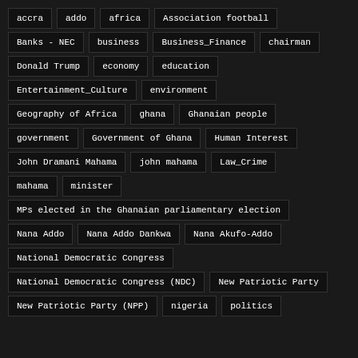accra
addo
africa
Association football
Banks - NEC
business
Business_Finance
chairman
Donald Trump
economy
education
Entertainment_Culture
environment
Geography of Africa
ghana
Ghanaian people
government
Government of Ghana
Human Interest
John Dramani Mahama
john mahama
Law_Crime
mahama
minister
MPs elected in the Ghanaian parliamentary election
Nana Addo
Nana Addo Dankwa
Nana Akufo-Addo
National Democratic Congress
National Democratic Congress (NDC)
New Patriotic Party
New Patriotic Party (NPP)
nigeria
politics